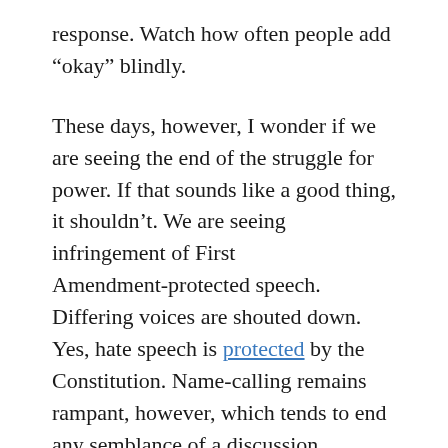response. Watch how often people add “okay” blindly.
These days, however, I wonder if we are seeing the end of the struggle for power. If that sounds like a good thing, it shouldn’t. We are seeing infringement of First Amendment-protected speech. Differing voices are shouted down. Yes, hate speech is protected by the Constitution. Name-calling remains rampant, however, which tends to end any semblance of a discussion. Slander and libel exist, but they must hew to strict guidelines; defamation cases rarely succeed. Yet the discussion-ending accusations fly.